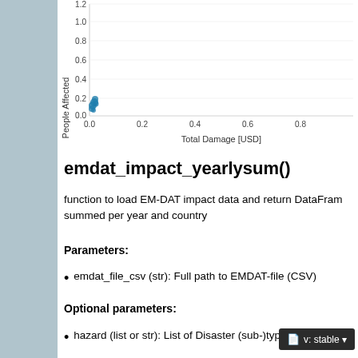[Figure (continuous-plot): Scatter plot showing People Affected (y-axis, 0.0 to ~1.2) vs Total Damage [USD] (x-axis, 0.0 to ~0.9+). Data points are clustered near the origin (around x=0.0, y=0.0-0.15), appearing as a dense blue cluster.]
emdat_impact_yearlysum()
function to load EM-DAT impact data and return DataFrame summed per year and country
Parameters:
emdat_file_csv (str): Full path to EMDAT-file (CSV)
Optional parameters:
hazard (list or str): List of Disaster (sub-)type accor